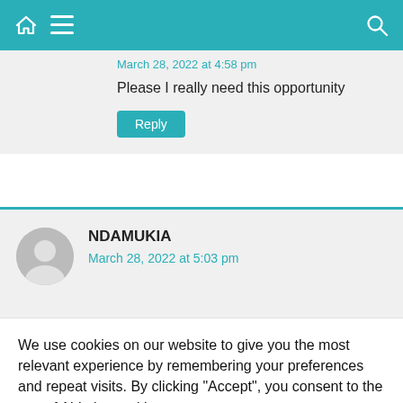Navigation bar with home, menu, and search icons
March 28, 2022 at 4:58 pm
Please I really need this opportunity
Reply
NDAMUKIA
March 28, 2022 at 5:03 pm
We use cookies on our website to give you the most relevant experience by remembering your preferences and repeat visits. By clicking “Accept”, you consent to the use of ALL the cookies. Reject.
Cookie Settings
Accept